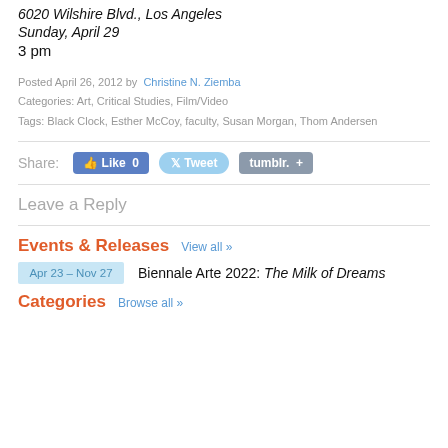6020 Wilshire Blvd., Los Angeles
Sunday, April 29
3 pm
Posted April 26, 2012 by  Christine N. Ziemba
Categories: Art, Critical Studies, Film/Video
Tags: Black Clock, Esther McCoy, faculty, Susan Morgan, Thom Andersen
Share:
Leave a Reply
Events & Releases  View all »
Apr 23 - Nov 27  Biennale Arte 2022: The Milk of Dreams
Categories  Browse all »